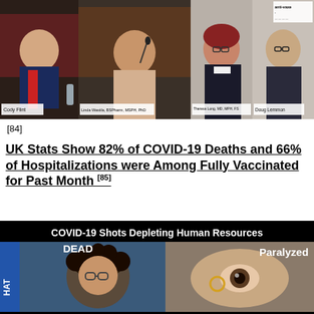[Figure (photo): Panel of four people seated at a hearing table with nameplates: Cody Flint, Linda Wastila BSPharm MSPH PhD, Theresa Long MD MPH FS, Doug Lemon]
[84]
UK Stats Show 82% of COVID-19 Deaths and 66% of Hospitalizations were Among Fully Vaccinated for Past Month [85]
[Figure (photo): COVID-19 Shots Depleting Human Resources - image showing two panels: one person labeled DEAD and another labeled Paralyzed, with HAT text on the left side]